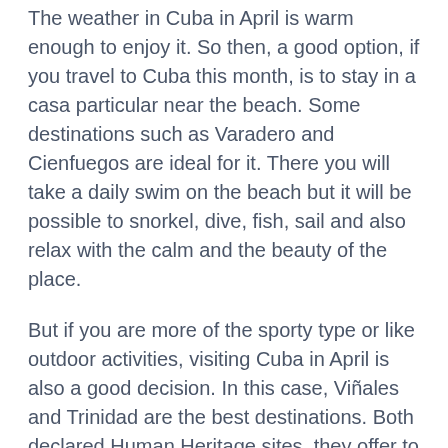The weather in Cuba in April is warm enough to enjoy it. So then, a good option, if you travel to Cuba this month, is to stay in a casa particular near the beach. Some destinations such as Varadero and Cienfuegos are ideal for it. There you will take a daily swim on the beach but it will be possible to snorkel, dive, fish, sail and also relax with the calm and the beauty of the place.
But if you are more of the sporty type or like outdoor activities, visiting Cuba in April is also a good decision. In this case, Viñales and Trinidad are the best destinations. Both declared Human Heritage sites, they offer to the most intrepid lovers of emotion a canopy tour (zip line). In Viñales Valley you can do trekking or walking, horseriding or climbing. There are underground rivers and also viewpoints. In Trinidad, in the Great National Park Topes de Collantes, the waterfalls and the walking trails are highlights.
Finally, for culture and heritage, there will...